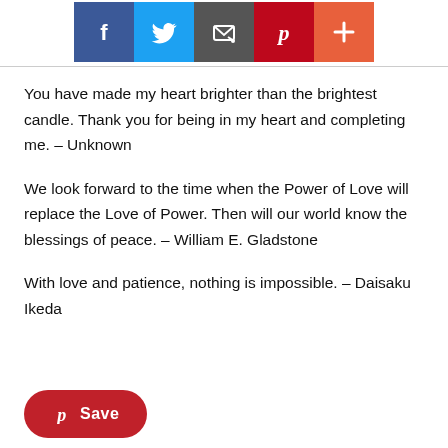[Figure (infographic): Social media sharing buttons: Facebook (dark blue), Twitter (light blue), Email (dark gray), Pinterest (dark red), and a plus/more button (orange-red)]
You have made my heart brighter than the brightest candle. Thank you for being in my heart and completing me. – Unknown
We look forward to the time when the Power of Love will replace the Love of Power. Then will our world know the blessings of peace. – William E. Gladstone
With love and patience, nothing is impossible. – Daisaku Ikeda
[Figure (other): A red pill-shaped Save button with Pinterest logo icon]